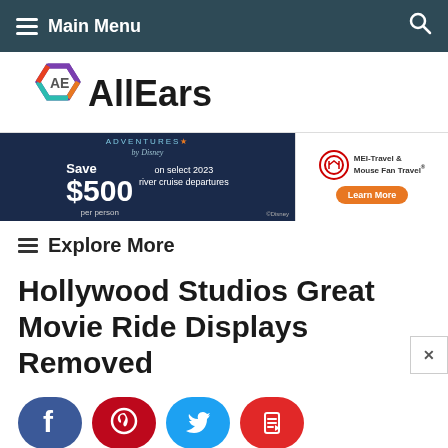Main Menu
[Figure (logo): AllEars logo with AE hexagon icon in purple, orange, teal and the text AllEars]
[Figure (infographic): Adventures by Disney advertisement banner: Save $500 per person on select 2023 river cruise departures. MEI-Travel & Mouse Fan Travel. Learn More button.]
Explore More
Hollywood Studios Great Movie Ride Displays Removed
[Figure (infographic): Social sharing buttons: Facebook (blue), Pinterest (red), Twitter (light blue), Flipboard (red)]
By Sarah Sands
Posted on December 13, 2018